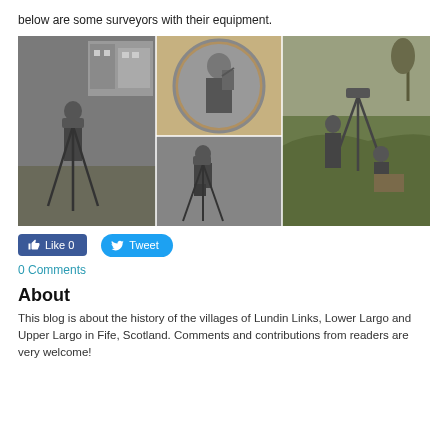below are some surveyors with their equipment.
[Figure (photo): Black and white photo collage of historical surveyors with their equipment. Left panel: surveyor using a theodolite on a tripod in a field with buildings behind. Middle top: oval portrait of a Victorian-era man holding surveying equipment. Middle bottom: man kneeling with a surveying instrument on a tripod. Right: two men in a field with a theodolite on a tripod on grass hillside.]
Like 0   Tweet
0 Comments
About
This blog is about the history of the villages of Lundin Links, Lower Largo and Upper Largo in Fife, Scotland. Comments and contributions from readers are very welcome!